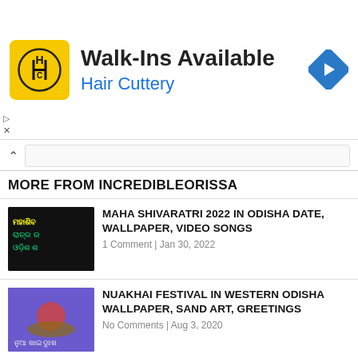[Figure (other): Hair Cuttery advertisement banner with logo, Walk-Ins Available text, and navigation icon]
MORE FROM INCREDIBLEORISSA
MAHA SHIVARATRI 2022 IN ODISHA DATE, WALLPAPER, VIDEO SONGS
1 Comment | Jan 30, 2022
NUAKHAI FESTIVAL IN WESTERN ODISHA WALLPAPER, SAND ART, GREETINGS
No Comments | Aug 3, 2020
DOLA PURNIMA 2022 IN ODISHA DATE, ODIA WALLPAPER, VIDEO
1 Comment | Jan 31, 2022
RAJA 2022 IN ODISHA, PAHILI RAJA, SANKRANTI, ODIA FESTIVAL DATE